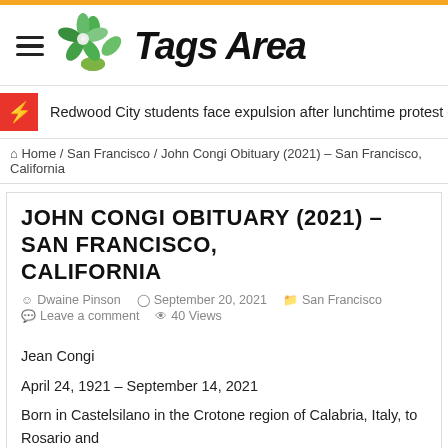Tags Area
Redwood City students face expulsion after lunchtime protest over new rules -
Home / San Francisco / John Congi Obituary (2021) – San Francisco, California
JOHN CONGI OBITUARY (2021) – SAN FRANCISCO, CALIFORNIA
Dwaine Pinson   September 20, 2021   San Francisco   Leave a comment   40 Views
Jean Congi
April 24, 1921 – September 14, 2021
Born in Castelsilano in the Crotone region of Calabria, Italy, to Rosario and